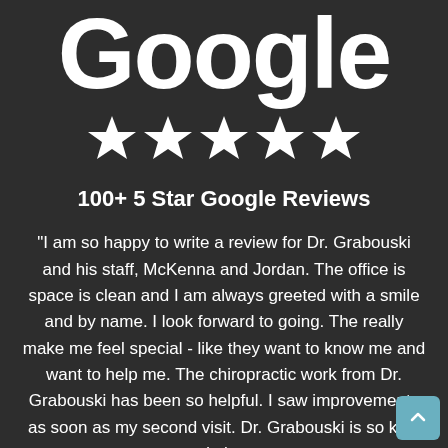[Figure (logo): Google logo in white text on dark background, with five white stars below it]
100+ 5 Star Google Reviews
"I am so happy to write a review for Dr. Grabouski and his staff, McKenna and Jordan. The office is space is clean and I am always greeted with a smile and by name. I look forward to going. The really make me feel special - like they want to know me and want to help me. The chiropractic work from Dr. Grabouski has been so helpful. I saw improvements as soon as my second visit. Dr. Grabouski is so kind and always